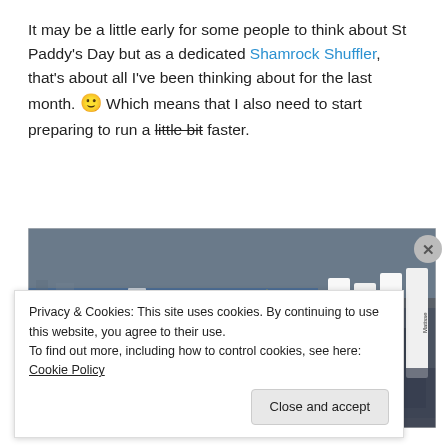It may be a little early for some people to think about St Paddy's Day but as a dedicated Shamrock Shuffler, that's about all I've been thinking about for the last month. 🙂 Which means that I also need to start preparing to run a little bit faster.
[Figure (photo): A large crowd of runners at the start of a road race, with Matisse sponsor signs visible on the right side.]
Privacy & Cookies: This site uses cookies. By continuing to use this website, you agree to their use. To find out more, including how to control cookies, see here: Cookie Policy